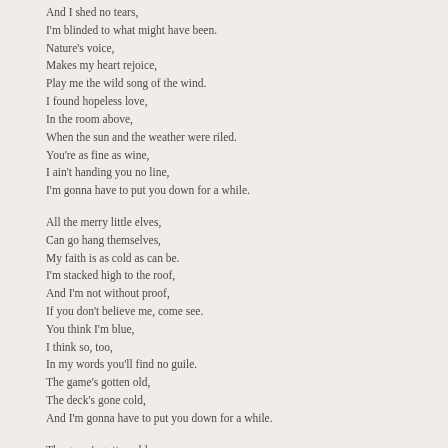And I shed no tears,
I'm blinded to what might have been.
Nature's voice,
Makes my heart rejoice,
Play me the wild song of the wind.
I found hopeless love,
In the room above,
When the sun and the weather were riled.
You're as fine as wine,
I ain't handing you no line,
I'm gonna have to put you down for a while.
All the merry little elves,
Can go hang themselves,
My faith is as cold as can be.
I'm stacked high to the roof,
And I'm not without proof,
If you don't believe me, come see.
You think I'm blue,
I think so, too,
In my words you'll find no guile.
The game's gotten old,
The deck's gone cold,
And I'm gonna have to put you down for a while.
The game's gotten old,
The deck's gone cold,
And I'm gonna have to put you down for a while